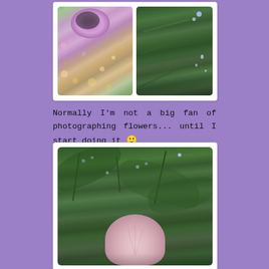[Figure (photo): Two flower photos side by side: left shows purple/pink clustered flowers with bokeh background, right shows green leaves with small blue forget-me-not flowers and water droplets]
Normally I'm not a big fan of photographing flowers... until I start doing it 🙂
[Figure (photo): Garden photo showing green leafy plants with small blue flowers and a pink rose or peony bloom visible at the bottom center]